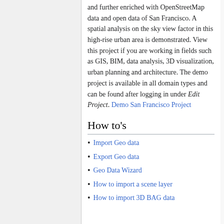and further enriched with OpenStreetMap data and open data of San Francisco. A spatial analysis on the sky view factor in this high-rise urban area is demonstrated. View this project if you are working in fields such as GIS, BIM, data analysis, 3D visualization, urban planning and architecture. The demo project is available in all domain types and can be found after logging in under Edit Project. Demo San Francisco Project
How to's
Import Geo data
Export Geo data
Geo Data Wizard
How to import a scene layer
How to import 3D BAG data